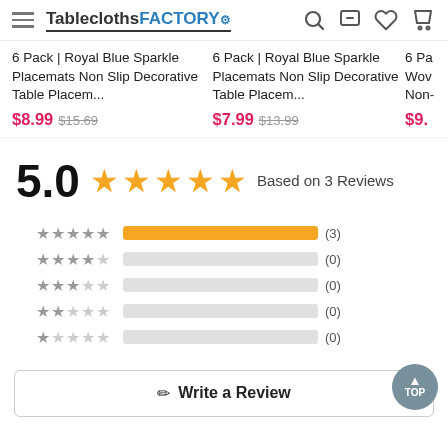TableclothsFACTORY
6 Pack | Royal Blue Sparkle Placemats Non Slip Decorative Table Placem... $8.99 $15.69
6 Pack | Royal Blue Sparkle Placemats Non Slip Decorative Table Placem... $7.99 $13.99
6 Pa Wov Non- $9.
[Figure (infographic): 5.0 star rating with 5 filled gold stars. Based on 3 Reviews. Bar chart breakdown: 5 stars (3), 4 stars (0), 3 stars (0), 2 stars (0), 1 star (0).]
Write a Review